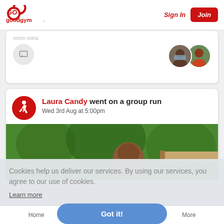goodgym — Sign In | Join
[Figure (screenshot): GoodGym website screenshot showing navigation header with logo, Sign In link and Join button]
Laura Candy went on a group run
Wed 3rd Aug at 5:00pm
[Figure (photo): Photo of a man outdoors among trees, partially obscured by cookie consent overlay]
Cookies help us deliver our services. By using our services, you agree to our use of cookies.
Learn more
Got it!
Home   Sessions   More